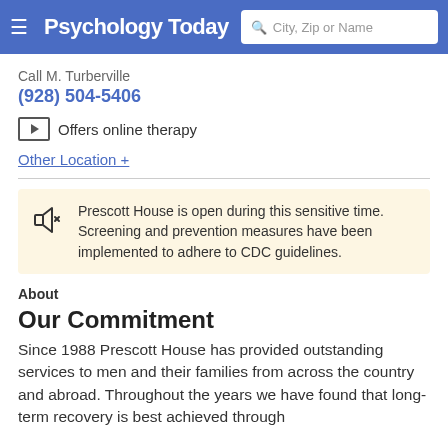Psychology Today — City, Zip or Name search bar
Call M. Turberville
(928) 504-5406
Offers online therapy
Other Location +
Prescott House is open during this sensitive time. Screening and prevention measures have been implemented to adhere to CDC guidelines.
About
Our Commitment
Since 1988 Prescott House has provided outstanding services to men and their families from across the country and abroad. Throughout the years we have found that long-term recovery is best achieved through